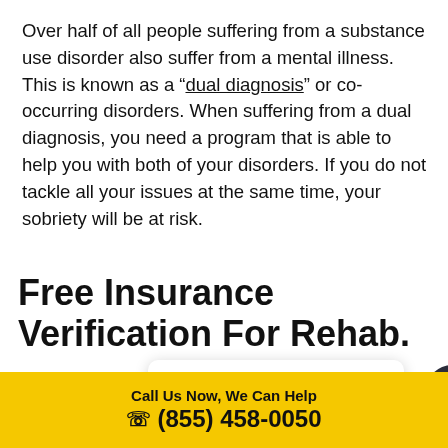Over half of all people suffering from a substance use disorder also suffer from a mental illness. This is known as a "dual diagnosis" or co-occurring disorders. When suffering from a dual diagnosis, you need a program that is able to help you with both of your disorders. If you do not tackle all your issues at the same time, your sobriety will be at risk.
Free Insurance Verification For Rehab.
[Figure (screenshot): Chat bubble widget showing message: 'Hi there, have a question? Text us here.' with a close X button and a dark circular chat icon with speech bubble icon]
Call Us Now, We Can Help
☎ (855) 458-0050